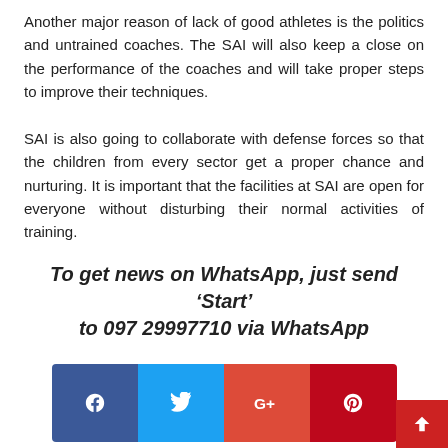Another major reason of lack of good athletes is the politics and untrained coaches. The SAI will also keep a close on the performance of the coaches and will take proper steps to improve their techniques.
SAI is also going to collaborate with defense forces so that the children from every sector get a proper chance and nurturing. It is important that the facilities at SAI are open for everyone without disturbing their normal activities of training.
To get news on WhatsApp, just send ‘Start’ to 097 29997710 via WhatsApp
[Figure (other): Social media share icons: Facebook (blue), Twitter (light blue), Google+ (red), Pinterest (dark red)]